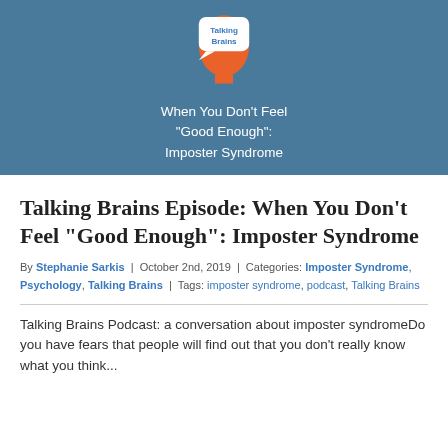[Figure (logo): Talking Brains podcast logo: orange silhouette of a head with a speech bubble containing the text 'Talking Brains' on a steel blue background. Below the logo text reads: When You Don't Feel "Good Enough": Imposter Syndrome]
Talking Brains Episode: When You Don't Feel “Good Enough”: Imposter Syndrome
By Stephanie Sarkis | October 2nd, 2019 | Categories: Imposter Syndrome, Psychology, Talking Brains | Tags: imposter syndrome, podcast, Talking Brains
Talking Brains Podcast: a conversation about imposter syndromeDo you have fears that people will find out that you don’t really know what you think...